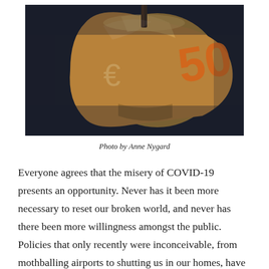[Figure (photo): Close-up photograph of a Euro banknote (50 euro) curled into a cylindrical shape with the euro symbol visible, placed on a dark background. A thin rod or pen protrudes from the top of the rolled bill.]
Photo by Anne Nygard
Everyone agrees that the misery of COVID-19 presents an opportunity. Never has it been more necessary to reset our broken world, and never has there been more willingness amongst the public. Policies that only recently were inconceivable, from mothballing airports to shutting us in our homes, have become reality.